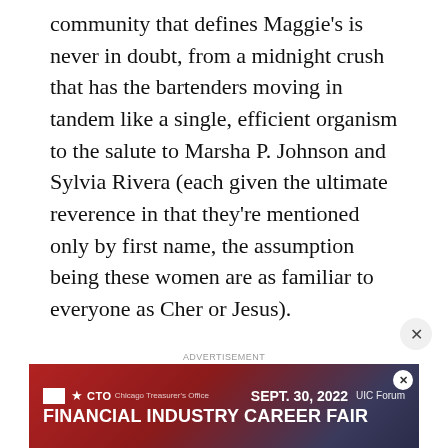community that defines Maggie's is never in doubt, from a midnight crush that has the bartenders moving in tandem like a single, efficient organism to the salute to Marsha P. Johnson and Sylvia Rivera (each given the ultimate reverence in that they're mentioned only by first name, the assumption being these women are as familiar to everyone as Cher or Jesus).
[Figure (other): Gray advertisement placeholder area with a dismiss (×) button in the lower right. Below it is an advertisement banner for a Financial Industry Career Fair by CTO Chicago Treasurer's Office, September 30, 2022, UIC Forum.]